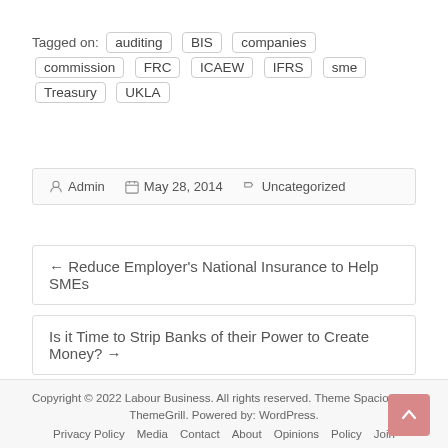Tagged on: auditing BIS companies commission FRC ICAEW IFRS sme Treasury UKLA
Admin  May 28, 2014  Uncategorized
← Reduce Employer's National Insurance to Help SMEs
Is it Time to Strip Banks of their Power to Create Money? →
Copyright © 2022 Labour Business. All rights reserved. Theme Spacious by ThemeGrill. Powered by: WordPress.
Privacy Policy  Media  Contact  About  Opinions  Policy  Join